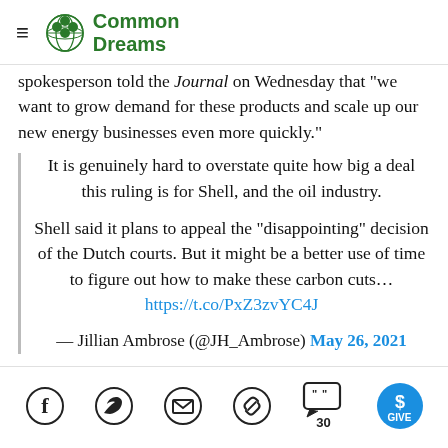Common Dreams
spokesperson told the Journal on Wednesday that "we want to grow demand for these products and scale up our new energy businesses even more quickly."
It is genuinely hard to overstate quite how big a deal this ruling is for Shell, and the oil industry.

Shell said it plans to appeal the "disappointing" decision of the Dutch courts. But it might be a better use of time to figure out how to make these carbon cuts... https://t.co/PxZ3zvYC4J

— Jillian Ambrose (@JH_Ambrose) May 26, 2021
[Figure (infographic): Social media sharing bar with icons for Facebook, Twitter, email, link, comments (30), and a GIVE button]